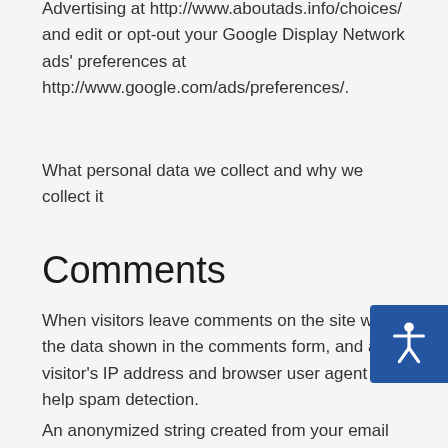Advertising at http://www.aboutads.info/choices/ and edit or opt-out your Google Display Network ads' preferences at http://www.google.com/ads/preferences/.
What personal data we collect and why we collect it
Comments
When visitors leave comments on the site we collect the data shown in the comments form, and also the visitor's IP address and browser user agent string to help spam detection.
An anonymized string created from your email